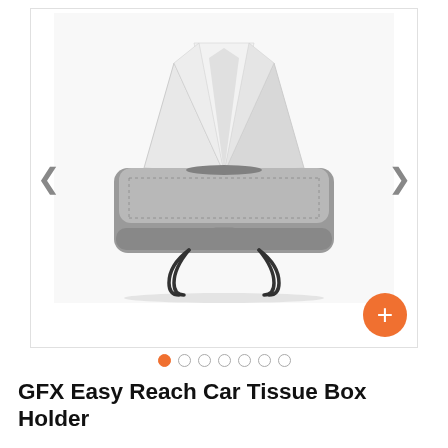[Figure (photo): Gray leather car tissue box holder with black wire clips underneath and a white tissue pulled out from the top center slot. Product shown on white background with left and right navigation arrows and an orange plus button in the bottom right corner.]
GFX Easy Reach Car Tissue Box Holder